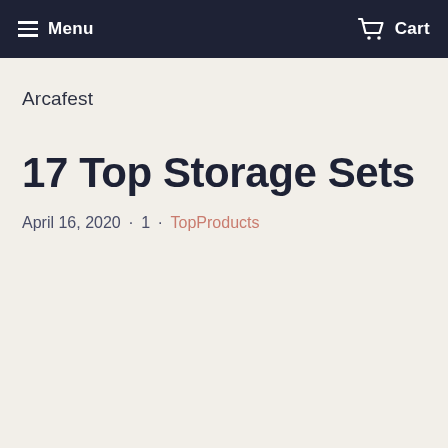Menu   Cart
Arcafest
17 Top Storage Sets
April 16, 2020 · 1 · TopProducts